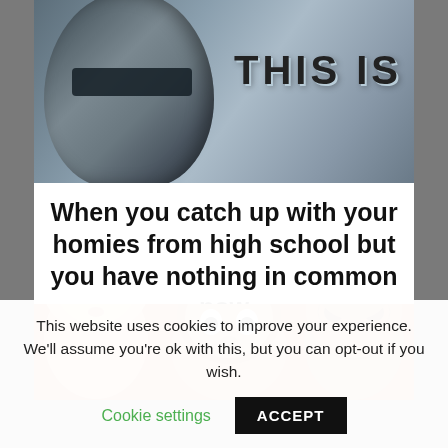[Figure (photo): Top portion of a Mandalorian helmet on gray background with bold text 'THIS IS' to the right]
When you catch up with your homies from high school but you have nothing in common now
[Figure (illustration): Comic-style illustration showing three characters: a young blond boy (young Anakin Skywalker), a dark-haired boy, and an alien creature, on orange halftone background]
This website uses cookies to improve your experience. We'll assume you're ok with this, but you can opt-out if you wish.
Cookie settings
ACCEPT